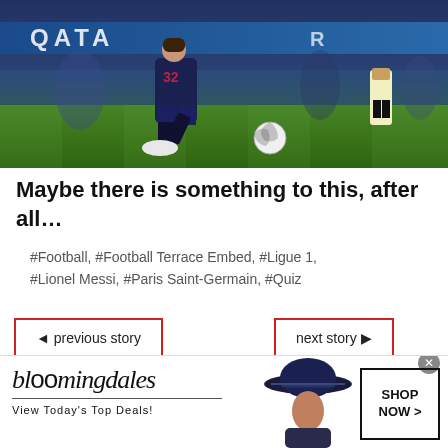[Figure (photo): Soccer/football player in dark navy PSG kit with number 32, kicking or dribbling a white soccer ball on green pitch, with QATAR sponsorship board visible in background and a referee in the distance]
Maybe there is something to this, after all…
#Football, #Football Terrace Embed, #Ligue 1, #Lionel Messi, #Paris Saint-Germain, #Quiz
◄ previous story
next story ▶
[Figure (advertisement): Bloomingdales advertisement showing logo text 'bloomingdales', tagline 'View Today's Top Deals!' with a woman in a wide-brim navy hat and a 'SHOP NOW >' button]